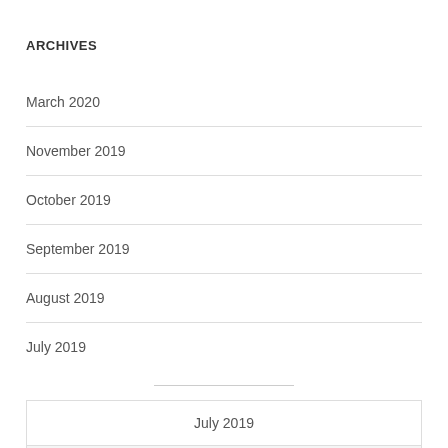ARCHIVES
March 2020
November 2019
October 2019
September 2019
August 2019
July 2019
| M | T | W | T | F | S | S |
| --- | --- | --- | --- | --- | --- | --- |